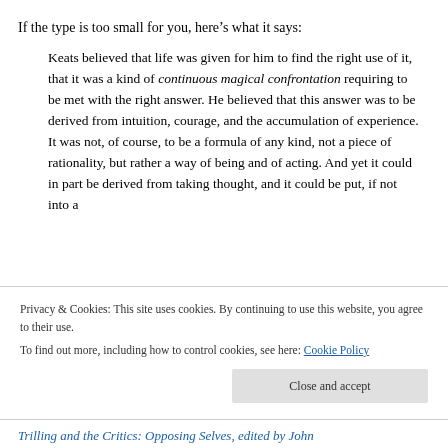If the type is too small for you, here’s what it says:
Keats believed that life was given for him to find the right use of it, that it was a kind of continuous magical confrontation requiring to be met with the right answer. He believed that this answer was to be derived from intuition, courage, and the accumulation of experience. It was not, of course, to be a formula of any kind, not a piece of rationality, but rather a way of being and of acting. And yet it could in part be derived from taking thought, and it could be put, if not into a
Privacy & Cookies: This site uses cookies. By continuing to use this website, you agree to their use.
To find out more, including how to control cookies, see here: Cookie Policy
Close and accept
Trilling and the Critics: Opposing Selves, edited by John